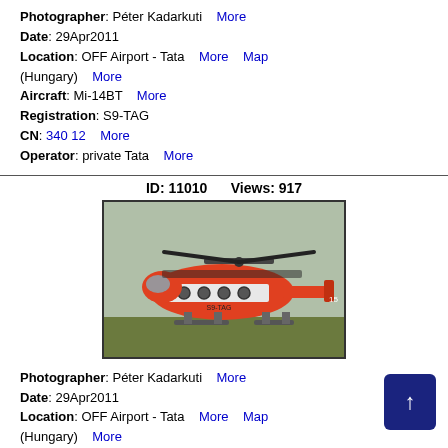Photographer: Péter Kadarkuti  More
Date: 29Apr2011
Location: OFF Airport - Tata  More  Map
(Hungary)  More
Aircraft: Mi-14BT  More
Registration: S9-TAG
CN: 340 12  More
Operator: private Tata  More
ID: 11010    Views: 917
[Figure (photo): Red and white Mi-14BT helicopter on grass, side view, registration S9-TAG]
Photographer: Péter Kadarkuti  More
Date: 29Apr2011
Location: OFF Airport - Tata  More  Map
(Hungary)  More
Aircraft: Mi-14BT  More
Registration: S9-TAG
CN: 340 12  More
Operator: private Tata  More